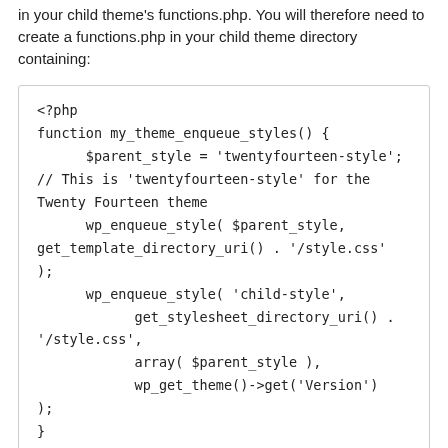in your child theme's functions.php. You will therefore need to create a functions.php in your child theme directory containing:
<?php
function my_theme_enqueue_styles() {
    $parent_style = 'twentyfourteen-style';
// This is 'twentyfourteen-style' for the Twenty Fourteen theme
    wp_enqueue_style( $parent_style,
get_template_directory_uri() . '/style.css'
);
    wp_enqueue_style( 'child-style',
        get_stylesheet_directory_uri() .
'/style.css',
        array( $parent_style ),
        wp_get_theme()->get('Version')
);
}